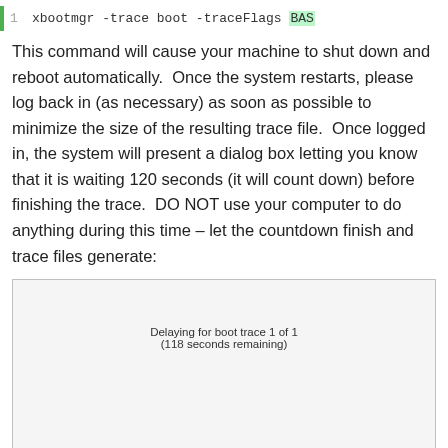[Figure (screenshot): Code block showing line 1 with command: xbootmgr -trace boot -traceFlags BAS (partially visible), with green left border and line number]
This command will cause your machine to shut down and reboot automatically.  Once the system restarts, please log back in (as necessary) as soon as possible to minimize the size of the resulting trace file.  Once logged in, the system will present a dialog box letting you know that it is waiting 120 seconds (it will count down) before finishing the trace.  DO NOT use your computer to do anything during this time – let the countdown finish and trace files generate:
[Figure (screenshot): Dialog box showing 'Delaying for boot trace 1 of 1 (118 seconds remaining)' with Finish and Cancel buttons at the bottom]